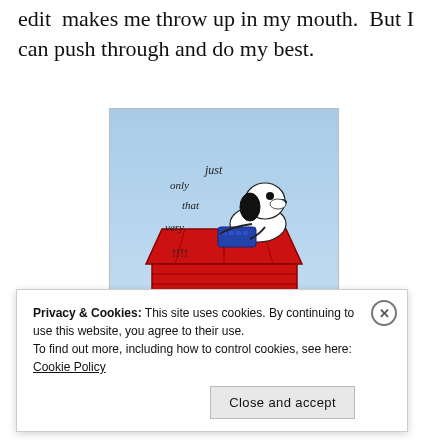edit  makes me throw up in my mouth.  But I can push through and do my best.
[Figure (illustration): Cartoon image of Snoopy the dog sitting on top of his red doghouse, typing on a typewriter. Text around him reads 'only just that very !!!!' and at the bottom it says 'Editing Day'. Background is blue sky and green grass.]
Privacy & Cookies: This site uses cookies. By continuing to use this website, you agree to their use.
To find out more, including how to control cookies, see here: Cookie Policy
Close and accept